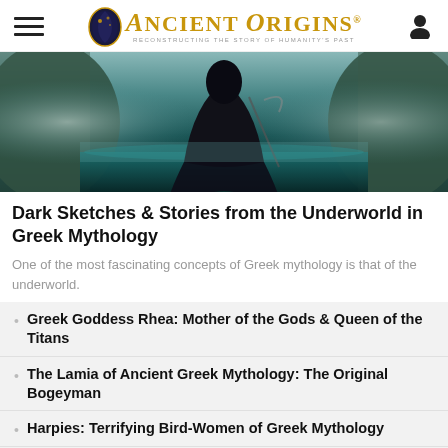Ancient Origins — Reconstructing the story of humanity's past
[Figure (photo): Dark atmospheric image of a cloaked figure in a misty underworld-like landscape with teal/dark water]
Dark Sketches & Stories from the Underworld in Greek Mythology
One of the most fascinating concepts of Greek mythology is that of the underworld.
Greek Goddess Rhea: Mother of the Gods & Queen of the Titans
The Lamia of Ancient Greek Mythology: The Original Bogeyman
Harpies: Terrifying Bird-Women of Greek Mythology
Eris: The Gleeful Greek Goddess of Chaos and